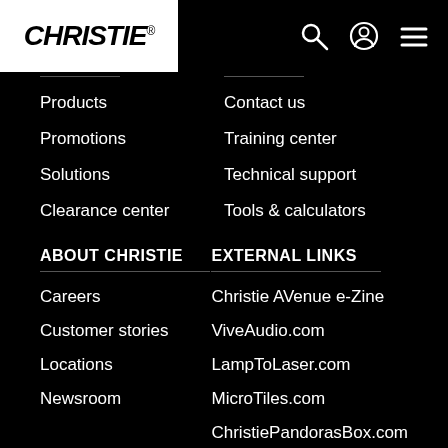[Figure (logo): Christie logo - white box with black italic bold text CHRISTIE and registered trademark symbol]
Products
Promotions
Solutions
Clearance center
Contact us
Training center
Technical support
Tools & calculators
ABOUT CHRISTIE
Careers
Customer stories
Locations
Newsroom
EXTERNAL LINKS
Christie AVenue e-Zine
ViveAudio.com
LampToLaser.com
MicroTiles.com
ChristiePandorasBox.com